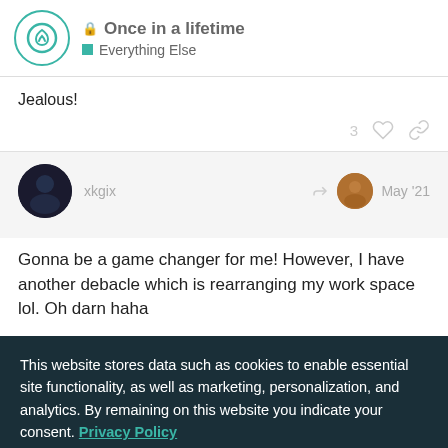Once in a lifetime — Everything Else
Jealous!
3
xkgix   May '21
Gonna be a game changer for me! However, I have another debacle which is rearranging my work space lol. Oh darn haha
This website stores data such as cookies to enable essential site functionality, as well as marketing, personalization, and analytics. By remaining on this website you indicate your consent. Privacy Policy